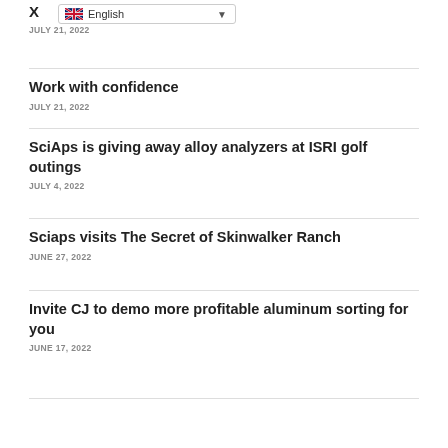X... lilt – still works!
JULY 21, 2022
Work with confidence
JULY 21, 2022
SciAps is giving away alloy analyzers at ISRI golf outings
JULY 4, 2022
Sciaps visits The Secret of Skinwalker Ranch
JUNE 27, 2022
Invite CJ to demo more profitable aluminum sorting for you
JUNE 17, 2022